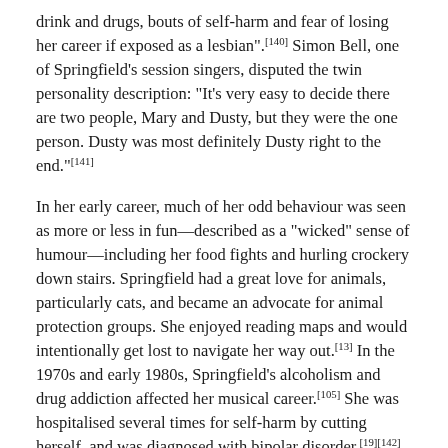drink and drugs, bouts of self-harm and fear of losing her career if exposed as a lesbian".[140] Simon Bell, one of Springfield's session singers, disputed the twin personality description: "It's very easy to decide there are two people, Mary and Dusty, but they were the one person. Dusty was most definitely Dusty right to the end."[141]
In her early career, much of her odd behaviour was seen as more or less in fun—described as a "wicked" sense of humour—including her food fights and hurling crockery down stairs. Springfield had a great love for animals, particularly cats, and became an advocate for animal protection groups. She enjoyed reading maps and would intentionally get lost to navigate her way out.[13] In the 1970s and early 1980s, Springfield's alcoholism and drug addiction affected her musical career.[105] She was hospitalised several times for self-harm by cutting herself, and was diagnosed with bipolar disorder.[19][142]
Springfield was never reported to be in a heterosexual